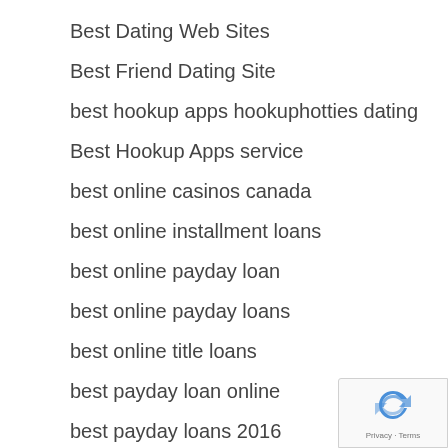Best Dating Web Sites
Best Friend Dating Site
best hookup apps hookuphotties dating
Best Hookup Apps service
best online casinos canada
best online installment loans
best online payday loan
best online payday loans
best online title loans
best payday loan online
best payday loans 2016